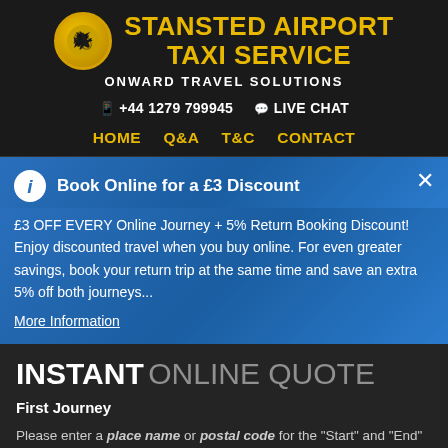STANSTED AIRPORT TAXI SERVICE
ONWARD TRAVEL SOLUTIONS
+44 1279 799945    LIVE CHAT
HOME    Q&A    T&C    CONTACT
Book Online for a £3 Discount
£3 OFF EVERY Online Journey + 5% Return Booking Discount! Enjoy discounted travel when you buy online. For even greater savings, book your return trip at the same time and save an extra 5% off both journeys...
More Information
INSTANT ONLINE QUOTE
First Journey
Please enter a place name or postal code for the "Start" and "End" of your journey.